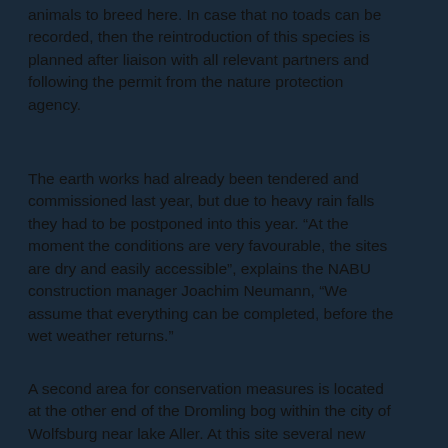animals to breed here. In case that no toads can be recorded, then the reintroduction of this species is planned after liaison with all relevant partners and following the permit from the nature protection agency.
The earth works had already been tendered and commissioned last year, but due to heavy rain falls they had to be postponed into this year. “At the moment the conditions are very favourable, the sites are dry and easily accessible”, explains the NABU construction manager Joachim Neumann, “We assume that everything can be completed, before the wet weather returns.”
A second area for conservation measures is located at the other end of the Dromling bog within the city of Wolfsburg near lake Aller. At this site several new